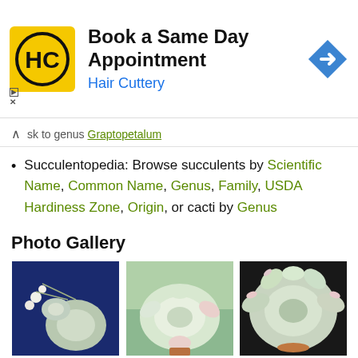[Figure (screenshot): Hair Cuttery advertisement banner: 'Book a Same Day Appointment' with Hair Cuttery logo and navigation arrow icon]
sk to genus Graptopetalum
Succulentopedia: Browse succulents by Scientific Name, Common Name, Genus, Family, USDA Hardiness Zone, Origin, or cacti by Genus
Photo Gallery
[Figure (photo): Succulent plant with white flowers and rosette leaves on dark blue background]
[Figure (photo): Succulent rosette with pale pink-tipped green leaves in a pot]
[Figure (photo): Succulent rosette with pale green and pink-edged leaves on dark background]
Photo by Margrit Bischofberger
Photo by Emmanuelle Aubé